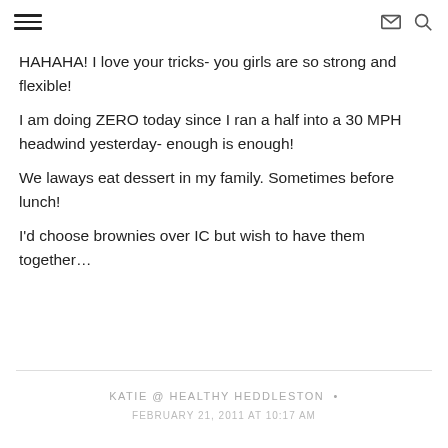≡  ✉ 🔍
HAHAHA! I love your tricks- you girls are so strong and flexible!
I am doing ZERO today since I ran a half into a 30 MPH headwind yesterday- enough is enough!
We laways eat dessert in my family. Sometimes before lunch!
I'd choose brownies over IC but wish to have them together…
KATIE @ HEALTHY HEDDLESTON •
FEBRUARY 21, 2011 AT 10:17 AM